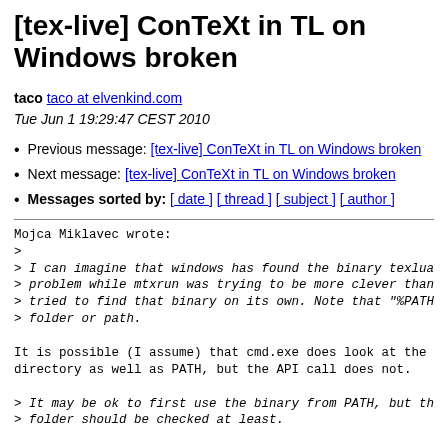[tex-live] ConTeXt in TL on Windows broken
taco taco at elvenkind.com
Tue Jun 1 19:29:47 CEST 2010
Previous message: [tex-live] ConTeXt in TL on Windows broken
Next message: [tex-live] ConTeXt in TL on Windows broken
Messages sorted by: [ date ] [ thread ] [ subject ] [ author ]
Mojca Miklavec wrote:
>
> I can imagine that windows has found the binary texlua.
> problem while mtxrun was trying to be more clever than
> tried to find that binary on its own. Note that "%PATH
> folder or path.

It is possible (I assume) that cmd.exe does look at the c
directory as well as PATH, but the API call does not.

> It may be ok to first use the binary from PATH, but the
> folder should be checked at least.